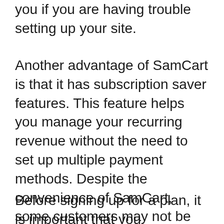you if you are having trouble setting up your site.
Another advantage of SamCart is that it has subscription saver features. This feature helps you manage your recurring revenue without the need to set up multiple payment methods. Despite the convenience of SamCart, some customers may not be willing to pay, and they can request chargebacks or cancel their credit cards. This could result in a loss or recurring income. Customers can choose to pay what they want, rather than paying you for each purchase.
Before signing up for a plan, it is important that you understand the pricing structure for SamCart. The cheapest plan comes with